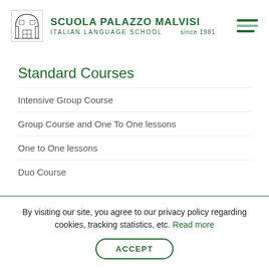SCUOLA PALAZZO MALVISI ITALIAN LANGUAGE SCHOOL since 1981
Standard Courses
Intensive Group Course
Group Course and One To One lessons
One to One lessons
Duo Course
Professional Courses
Italian for Tourism
By visiting our site, you agree to our privacy policy regarding cookies, tracking statistics, etc. Read more
ACCEPT